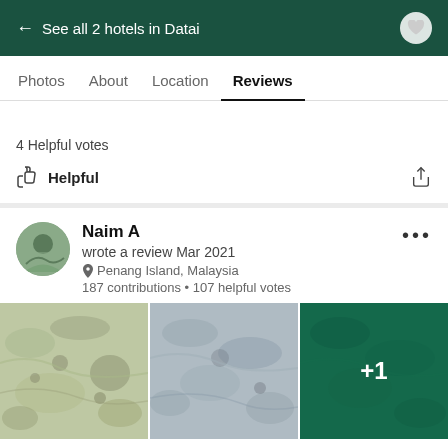← See all 2 hotels in Datai
Photos  About  Location  Reviews
4 Helpful votes
Helpful
Naim A
wrote a review Mar 2021
Penang Island, Malaysia
187 contributions • 107 helpful votes
[Figure (photo): Three photos of clear turquoise/green shallow water showing sandy/rocky seabed. Third photo has a '+1' overlay.]
[Figure (other): Five green circle rating dots partially visible at bottom]